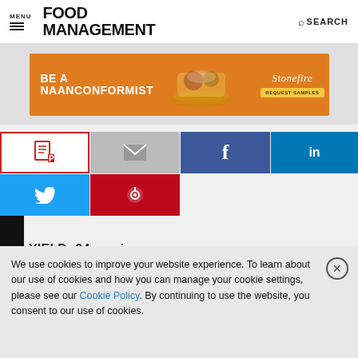MENU | FOOD MANAGEMENT | SEARCH
[Figure (photo): Stonefire advertisement banner: orange background with text 'BE A NAANCONFORMIST', food imagery (naan wraps on a platter), Stonefire logo, and 'REQUEST SAMPLES' button]
[Figure (infographic): Social share buttons row 1: PDF (white/red border), Email (gray), Facebook (dark blue), LinkedIn (blue)]
[Figure (infographic): Social share buttons row 2: Twitter (light blue), Pinterest (red)]
YIELD: 24 servings
We use cookies to improve your website experience. To learn about our use of cookies and how you can manage your cookie settings, please see our Cookie Policy. By continuing to use the website, you consent to our use of cookies.